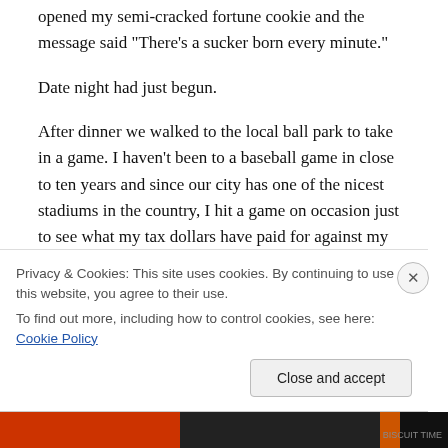opened my semi-cracked fortune cookie and the message said “There’s a sucker born every minute.”
Date night had just begun.
After dinner we walked to the local ball park to take in a game. I haven’t been to a baseball game in close to ten years and since our city has one of the nicest stadiums in the country, I hit a game on occasion just to see what my tax dollars have paid for against my will.
My husband and I have entirely different motives. He goes to baseball games to watch a sporting event. I go to
Privacy & Cookies: This site uses cookies. By continuing to use this website, you agree to their use.
To find out more, including how to control cookies, see here: Cookie Policy
Close and accept